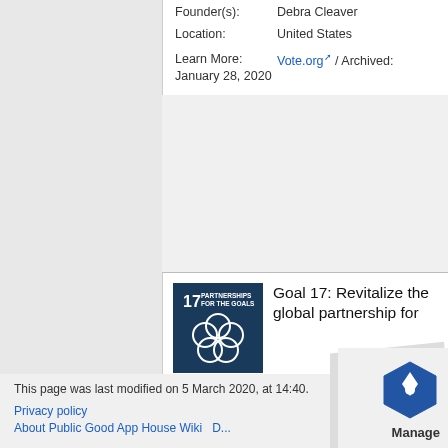| Founder(s): | Debra Cleaver |
| Location: | United States |
| Learn More: | Vote.org / Archived: January 28, 2020 |
[Figure (illustration): SDG Goal 17 badge: dark blue square with '17 PARTNERSHIPS FOR THE GOALS' text and interlocking circles icon]
Goal 17: Revitalize the global partnership for sustainable development
This page was last modified on 5 March 2020, at 14:40.
Privacy policy
About Public Good App House Wiki   D...